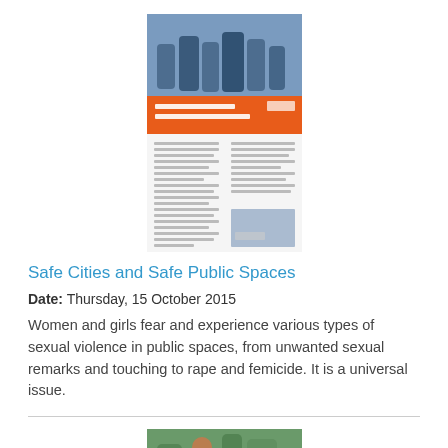[Figure (illustration): Thumbnail image of a document titled 'Safe Cities and Safe Public Spaces' with an orange cover and a photo of people at top]
Safe Cities and Safe Public Spaces
Date: Thursday, 15 October 2015
Women and girls fear and experience various types of sexual violence in public spaces, from unwanted sexual remarks and touching to rape and femicide. It is a universal issue.
[Figure (illustration): Thumbnail image of a document titled 'In Brief - Safe Cities Global Initiative' with an orange cover and a photo of a person]
In Brief - Safe Cities Global Initiative
Date: Tuesday, 13 October 2015